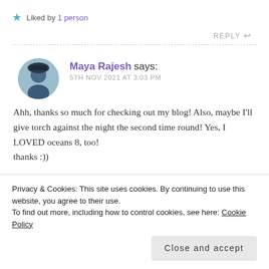★ Liked by 1 person
REPLY ↩
Maya Rajesh says:
5TH NOV 2021 AT 3:03 PM
Ahh, thanks so much for checking out my blog! Also, maybe I'll give torch against the night the second time round! Yes, I LOVED oceans 8, too! thanks :))
Privacy & Cookies: This site uses cookies. By continuing to use this website, you agree to their use.
To find out more, including how to control cookies, see here: Cookie Policy
Close and accept